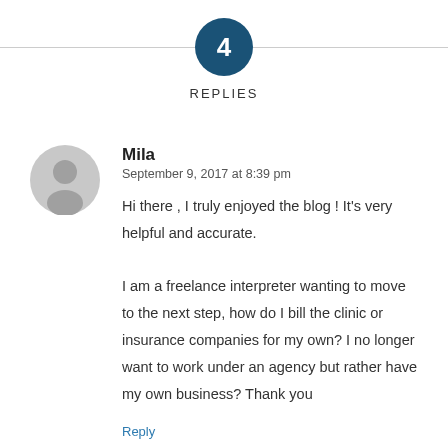[Figure (other): Circle badge with number 4 and horizontal divider lines on each side, labeled REPLIES]
REPLIES
[Figure (other): Grey circular avatar/profile icon]
Mila
September 9, 2017 at 8:39 pm
Hi there , I truly enjoyed the blog ! It's very helpful and accurate.

I am a freelance interpreter wanting to move to the next step, how do I bill the clinic or insurance companies for my own? I no longer want to work under an agency but rather have my own business? Thank you
Reply